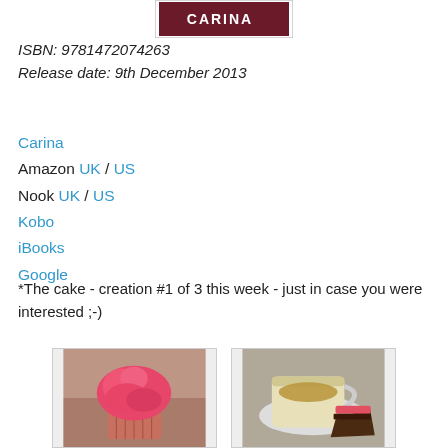[Figure (logo): Carina publisher logo with dark red/maroon background and white CARINA text]
ISBN: 9781472074263
Release date: 9th December 2013
Carina
Amazon UK / US
Nook UK / US
Kobo
iBooks
Google
*The cake - creation #1 of 3 this week - just in case you were interested ;-)
[Figure (photo): Photo of a pink frosted cupcake against a tiled background]
[Figure (photo): Photo of a cup of tea on a saucer with a slice of chocolate cake]